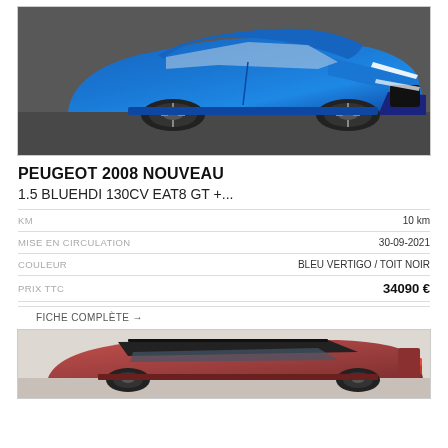[Figure (photo): Blue Peugeot 2008 SUV photographed from front-left angle in a studio/showroom with grey floor]
PEUGEOT 2008 NOUVEAU
1.5 BLUEHDI 130CV EAT8 GT +...
| KM | 10 km |
| MISE EN CIRCULATION | 30-09-2021 |
| COULEUR | BLEU VERTIGO / TOIT NOIR |
| PRIX TTC | 34090 € |
FICHE COMPLÈTE →
[Figure (photo): Red/pink Peugeot SUV photographed from rear-left angle in a white studio background]